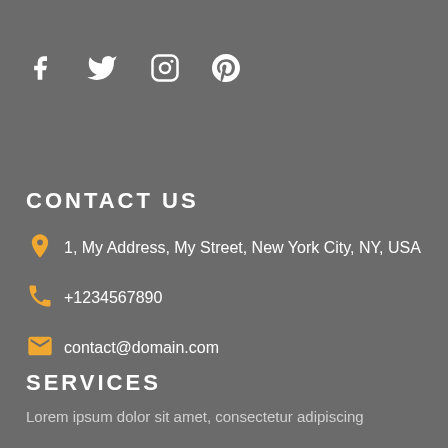[Figure (illustration): Social media icons: Facebook, Twitter, Instagram, Pinterest — white on dark grey background]
CONTACT US
1, My Address, My Street, New York City, NY, USA
+1234567890
contact@domain.com
SERVICES
Lorem ipsum dolor sit amet, consectetur adipiscing